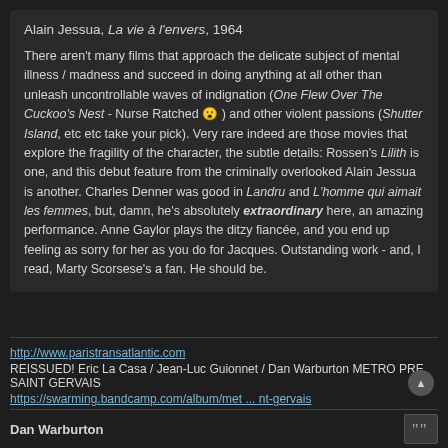Alain Jessua, La vie à l'envers, 1964
There aren't many films that approach the delicate subject of mental illness / madness and succeed in doing anything at all other than unleash uncontrollable waves of indignation (One Flew Over The Cuckoo's Nest - Nurse Ratched 😮 ) and other violent passions (Shutter Island, etc etc take your pick). Very rare indeed are those movies that explore the fragility of the character, the subtle details: Rossen's Lilith is one, and this debut feature from the criminally overlooked Alain Jessua is another. Charles Denner was good in Landru and L'homme qui aimait les femmes, but, damn, he's absolutely extraordinary here, an amazing performance. Anne Gaylor plays the ditzy fiancée, and you end up feeling as sorry for her as you do for Jacques. Outstanding work - and, I read, Marty Scorsese's a fan. He should be.
http://www.paristransatlantic.com
REISSUED! Eric La Casa / Jean-Luc Guionnet / Dan Warburton METRO PRE SAINT GERVAIS
https://swarming.bandcamp.com/album/met ... nt-gervais
Dan Warburton